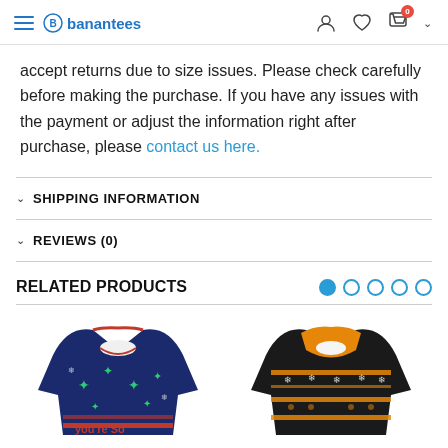banantees — navigation header with hamburger menu, logo, user icon, heart icon, cart icon with badge 0, chevron
accept returns due to size issues. Please check carefully before making the purchase. If you have any issues with the payment or adjust the information right after purchase, please contact us here.
SHIPPING INFORMATION
REVIEWS (0)
RELATED PRODUCTS
[Figure (photo): Two Christmas/ugly sweater product photos: left is a dark blue sweater with green stars and holiday pattern, right is a black and orange sweater with holiday pattern]